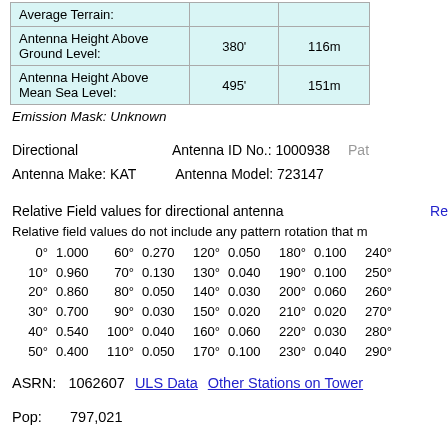|  |  |  |
| --- | --- | --- |
| Average Terrain: |  |  |
| Antenna Height Above Ground Level: | 380' | 116m |
| Antenna Height Above Mean Sea Level: | 495' | 151m |
Emission Mask: Unknown
Directional    Antenna ID No.: 1000938    Pat...
Antenna Make: KAT    Antenna Model: 723147
Relative Field values for directional antenna
Relative field values do not include any pattern rotation that m...
0° 1.000   60° 0.270   120° 0.050   180° 0.100   240°
10° 0.960   70° 0.130   130° 0.040   190° 0.100   250°
20° 0.860   80° 0.050   140° 0.030   200° 0.060   260°
30° 0.700   90° 0.030   150° 0.020   210° 0.020   270°
40° 0.540   100° 0.040   160° 0.060   220° 0.030   280°
50° 0.400   110° 0.050   170° 0.100   230° 0.040   290°
ASRN:  1062607    ULS Data    Other Stations on Tower
Pop:       797,021